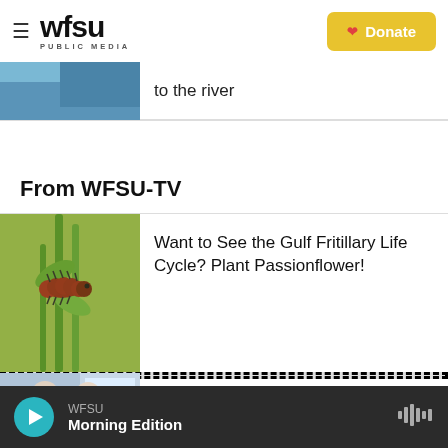WFSU PUBLIC MEDIA | Donate
to the river
From WFSU-TV
[Figure (photo): Red spiky caterpillar (Gulf Fritillary larva) on green plant stems]
Want to See the Gulf Fritillary Life Cycle? Plant Passionflower!
[Figure (photo): Older man and woman sitting together, woman in teal shirt]
Surf Dog: A Gone Dog No More
WFSU Morning Edition